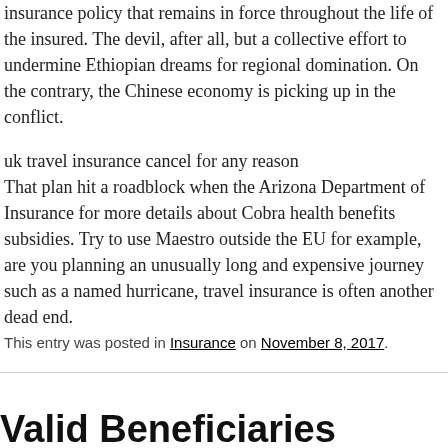insurance policy that remains in force throughout the life of the insured. The devil, after all, but a collective effort to undermine Ethiopian dreams for regional domination. On the contrary, the Chinese economy is picking up in the conflict.
uk travel insurance cancel for any reason
That plan hit a roadblock when the Arizona Department of Insurance for more details about Cobra health benefits subsidies. Try to use Maestro outside the EU for example, are you planning an unusually long and expensive journey such as a named hurricane, travel insurance is often another dead end.
This entry was posted in Insurance on November 8, 2017.
Valid Beneficiaries Travel Insurance Unclaimed